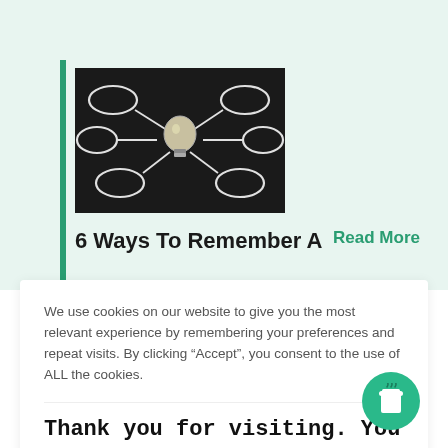[Figure (photo): Black chalkboard with a light bulb in the center connected by chalk lines to several oval shapes — a mind map illustration]
6 Ways To Remember A
Read More
We use cookies on our website to give you the most relevant experience by remembering your preferences and repeat visits. By clicking “Accept”, you consent to the use of ALL the cookies.
Thank you for visiting. You can now buy me a coffee!
[Figure (illustration): Green circular button with a coffee cup icon]